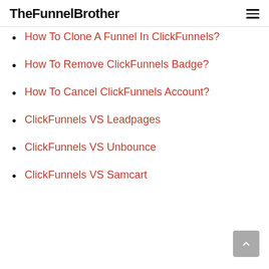TheFunnelBrother
How To Clone A Funnel In ClickFunnels?
How To Remove ClickFunnels Badge?
How To Cancel ClickFunnels Account?
ClickFunnels VS Leadpages
ClickFunnels VS Unbounce
ClickFunnels VS Samcart